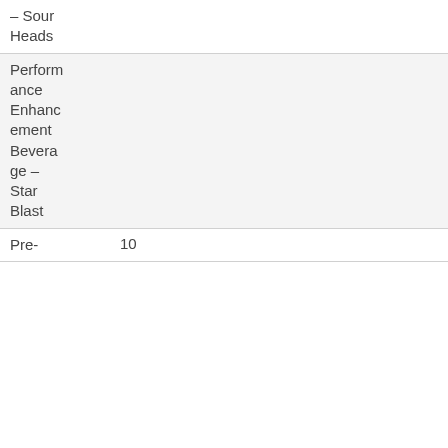| – Sour Heads |  |  |
| Performance Enhancement Beverage – Star Blast |  |  |
| Pre- | 10 |  |